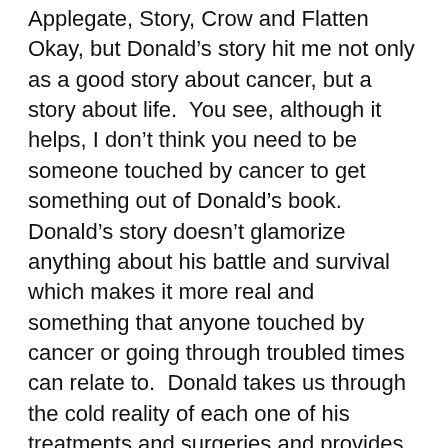Applegate, Story, Crow and Flatten Okay, but Donald's story hit me not only as a good story about cancer, but a story about life.  You see, although it helps, I don't think you need to be someone touched by cancer to get something out of Donald's book.  Donald's story doesn't glamorize anything about his battle and survival which makes it more real and something that anyone touched by cancer or going through troubled times can relate to.  Donald takes us through the cold reality of each one of his treatments and surgeries and provides a non-clinical view of what the patient goes through emotionally and physically.  Better yet, what Donald does is=2 0typical of his personality.  He doesn't question things without giving his own opinion or answer.  He always has his own solution for coping with what a cancer patient will go through.